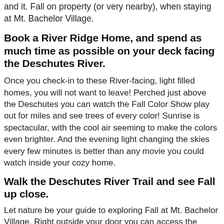and it. Fall on property (or very nearby), when staying at Mt. Bachelor Village.
Book a River Ridge Home, and spend as much time as possible on your deck facing the Deschutes River.
Once you check-in to these River-facing, light filled homes, you will not want to leave! Perched just above the Deschutes you can watch the Fall Color Show play out for miles and see trees of every color! Sunrise is spectacular, with the cool air seeming to make the colors even brighter. And the evening light changing the skies every few minutes is better than any movie you could watch inside your cozy home.
Walk the Deschutes River Trail and see Fall up close.
Let nature be your guide to exploring Fall at Mt. Bachelor Village. Right outside your door you can access the